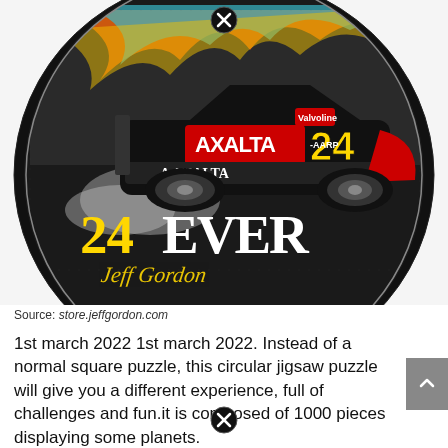[Figure (photo): Circular jigsaw puzzle showing a NASCAR race car #24 with Axalta sponsorship and flames design, with '24EVER' text and Jeff Gordon signature at the bottom of the circular image]
Source: store.jeffgordon.com
1st march 2022 1st march 2022. Instead of a normal square puzzle, this circular jigsaw puzzle will give you a different experience, full of challenges and fun.it is composed of 1000 pieces displaying some planets.